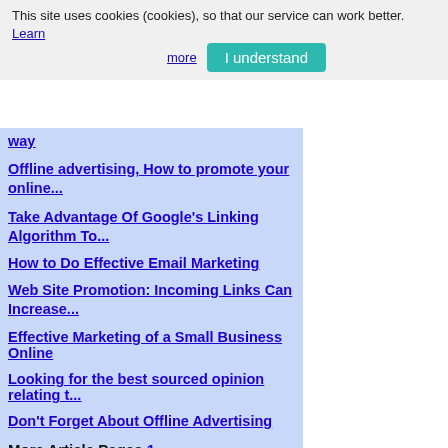This site uses cookies (cookies), so that our service can work better. Learn more
I understand
way
Offline advertising, How to promote your online...
Take Advantage Of Google's Linking Algorithm To...
How to Do Effective Email Marketing
Web Site Promotion: Incoming Links Can Increase...
Effective Marketing of a Small Business Online
Looking for the best sourced opinion relating t...
Don't Forget About Offline Advertising
More Article Pages 1